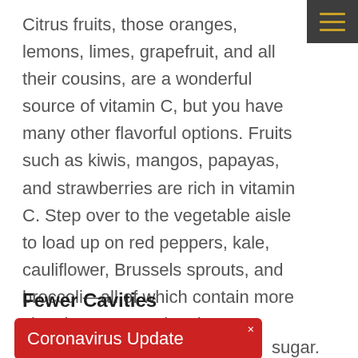Citrus fruits, those oranges, lemons, limes, grapefruit, and all their cousins, are a wonderful source of vitamin C, but you have many other flavorful options. Fruits such as kiwis, mangos, papayas, and strawberries are rich in vitamin C. Step over to the vegetable aisle to load up on red peppers, kale, cauliflower, Brussels sprouts, and broccoli—all of which contain more vitamin C per serving than a medium orange!
Fewer Cavities
sugar. Oral bacteria in
[Figure (other): Red Coronavirus Update notification banner overlay with close (×) button]